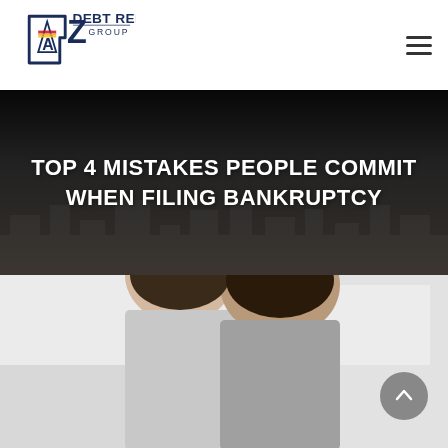[Figure (logo): AZ Debt Relief Group logo — outline of Arizona state with A-frame mountain icon and red/orange/yellow flag colors, text 'AZ DEBT RELIEF GROUP' in dark navy]
TOP 4 MISTAKES PEOPLE COMMIT WHEN FILING BANKRUPTCY
[Figure (photo): Two people (man and woman) viewed from behind, appearing to be in distress or conversation, blurred background interior]